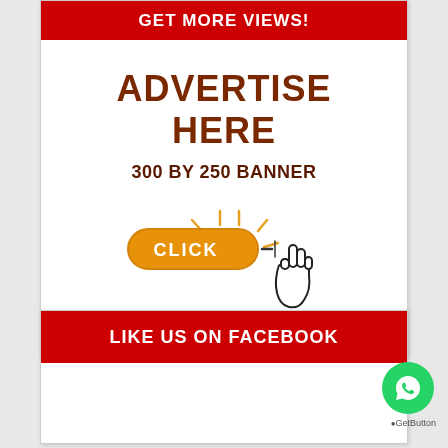GET MORE VIEWS!
ADVERTISE HERE
300 BY 250 BANNER
[Figure (illustration): Orange CLICK button with a pointing hand cursor icon and glow effect]
LIKE US ON FACEBOOK